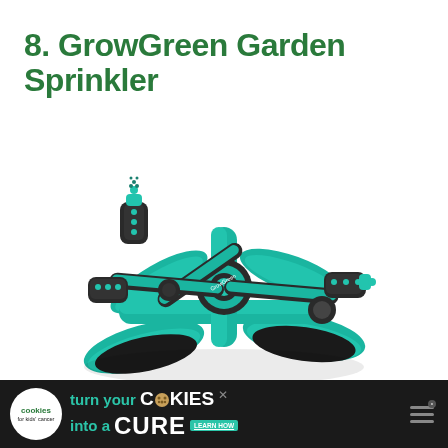8. GrowGreen Garden Sprinkler
[Figure (photo): A teal and black GrowGreen brand 3-arm rotating garden sprinkler with a tri-pod base, featuring three adjustable spray nozzle arms with black rubber ends, mounted on a teal plastic sled-style base. The sprinkler is shown on a white background.]
[Figure (infographic): Advertisement banner with dark background. Left: white circle with 'cookies for kids cancer' logo in green text. Center: teal and white text reading 'turn your COOKIES into a CURE' with LEARN HOW button. Right: dark section with triple bar icon and close X button.]